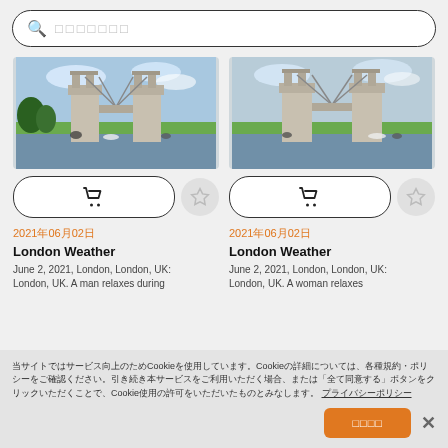🔍 □□□□□□□
[Figure (photo): Tower Bridge London, view from park with people relaxing on grass in foreground, left image]
[Figure (photo): Tower Bridge London, view from park with people relaxing on grass in foreground, right image]
2021年06月02日
London Weather
June 2, 2021, London, London, UK: London, UK. A man relaxes during
2021年06月02日
London Weather
June 2, 2021, London, London, UK: London, UK. A woman relaxes
当サイトではサービス向上のためCookieを使用しています。Cookieの詳細については、各種規約・ポリシーをご確認ください。引き続き本サービスをご利用いただく場合、または「全て同意する」ボタンをクリックいただくことで、Cookie使用の許可をいただいたものとみなします。 プライバシーポリシー